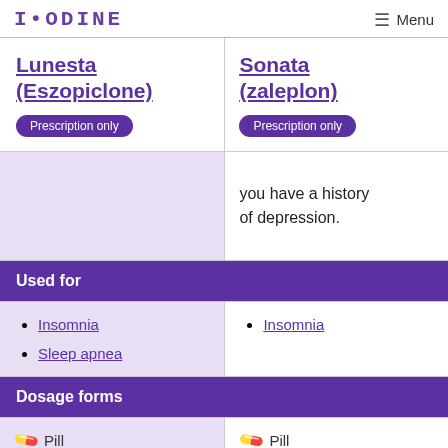IODINE  Menu
| Lunesta (Eszopiclone) — Prescription only | Sonata (zaleplon) — Prescription only |
| --- | --- |
| [lavender bg — empty] | you have a history of depression. |
| Used for | Used for |
| • Insomnia
• Sleep apnea | • Insomnia |
| Dosage forms | Dosage forms |
| 🔗 Pill | 🔗 Pill |